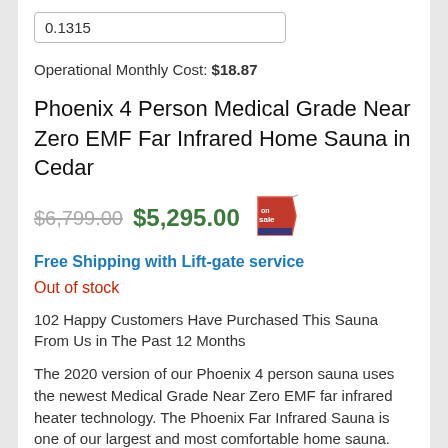0.1315
Operational Monthly Cost: $18.87
Phoenix 4 Person Medical Grade Near Zero EMF Far Infrared Home Sauna in Cedar
$6,799.00 $5,295.00
Free Shipping with Lift-gate service
Out of stock
102 Happy Customers Have Purchased This Sauna From Us in The Past 12 Months
The 2020 version of our Phoenix 4 person sauna uses the newest Medical Grade Near Zero EMF far infrared heater technology. The Phoenix Far Infrared Sauna is one of our largest and most comfortable home sauna.